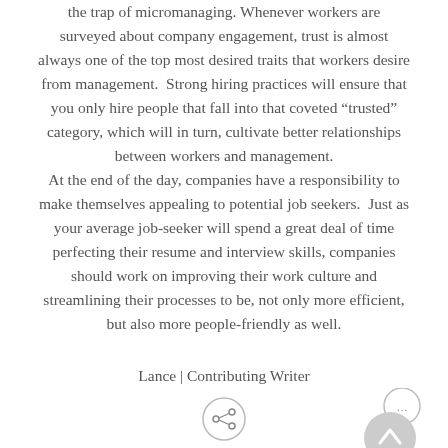the trap of micromanaging. Whenever workers are surveyed about company engagement, trust is almost always one of the top most desired traits that workers desire from management.  Strong hiring practices will ensure that you only hire people that fall into that coveted “trusted” category, which will in turn, cultivate better relationships between workers and management.
At the end of the day, companies have a responsibility to make themselves appealing to potential job seekers.  Just as your average job-seeker will spend a great deal of time perfecting their resume and interview skills, companies should work on improving their work culture and streamlining their processes to be, not only more efficient, but also more people-friendly as well.
Lance | Contributing Writer
[Figure (other): Share button (circle with connected dots icon) and chat/scroll-to-top UI buttons]